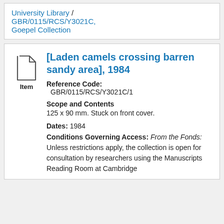University Library / GBR/0115/RCS/Y3021C, Goepel Collection
[Laden camels crossing barren sandy area], 1984
Reference Code: GBR/0115/RCS/Y3021C/1
Scope and Contents
125 x 90 mm. Stuck on front cover.
Dates: 1984
Conditions Governing Access: From the Fonds: Unless restrictions apply, the collection is open for consultation by researchers using the Manuscripts Reading Room at Cambridge